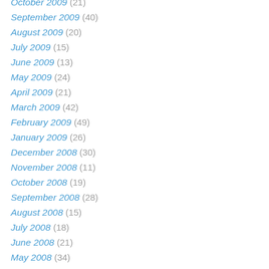October 2009 (21)
September 2009 (40)
August 2009 (20)
July 2009 (15)
June 2009 (13)
May 2009 (24)
April 2009 (21)
March 2009 (42)
February 2009 (49)
January 2009 (26)
December 2008 (30)
November 2008 (11)
October 2008 (19)
September 2008 (28)
August 2008 (15)
July 2008 (18)
June 2008 (21)
May 2008 (34)
April 2008 (28)